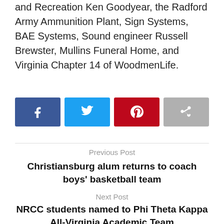and Recreation Ken Goodyear, the Radford Army Ammunition Plant, Sign Systems, BAE Systems, Sound engineer Russell Brewster, Mullins Funeral Home, and Virginia Chapter 14 of WoodmenLife.
[Figure (other): Social share buttons: Facebook (blue), Twitter (light blue), Pinterest (red), Share (gray)]
Previous Post
Christiansburg alum returns to coach boys' basketball team
Next Post
NRCC students named to Phi Theta Kappa All-Virginia Academic Team